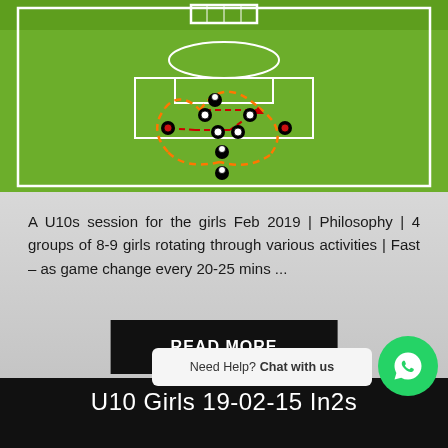[Figure (illustration): Soccer/football field diagram showing a training drill with player positions marked in black and red/white, connected by orange dashed arrows forming an oval pattern, indicating movement and passing directions. White field markings on green grass background.]
A U10s session for the girls Feb 2019 | Philosophy | 4 groups of 8-9 girls rotating through various activities | Fast – as game change every 20-25 mins ...
READ MORE
Need Help? Chat with us
U10 Girls 19-02-15 In2s